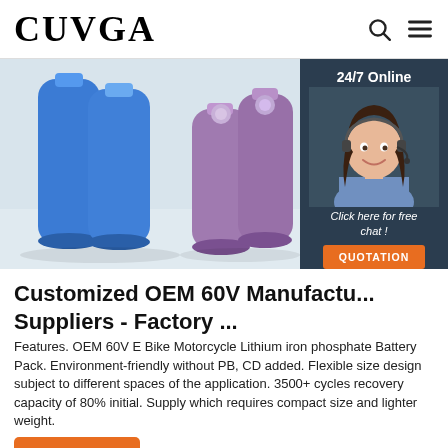CUVGA
[Figure (photo): Product photo showing blue and purple cylindrical lithium battery cells against a light background, with a 24/7 online chat widget overlay featuring a female customer service agent with headset. Widget includes text 'Click here for free chat!' and an orange QUOTATION button.]
Customized OEM 60V Manufactu... Suppliers - Factory ...
Features. OEM 60V E Bike Motorcycle Lithium iron phosphate Battery Pack. Environment-friendly without PB, CD added. Flexible size design subject to different spaces of the application. 3500+ cycles recovery capacity of 80% initial. Supply which requires compact size and lighter weight.
Get Price